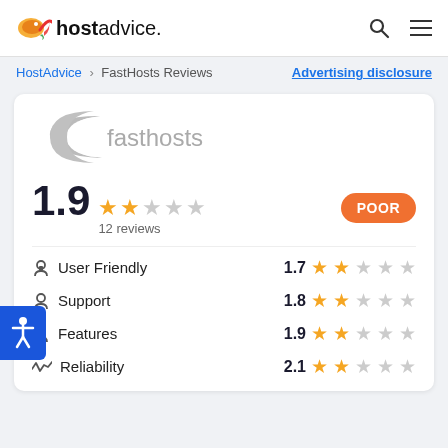hostadvice. [search icon] [menu icon]
HostAdvice > FastHosts Reviews    Advertising disclosure
[Figure (logo): Fasthosts company logo - grey crescent shape with 'fasthosts' text in grey]
1.9  ★★☆☆☆  12 reviews    POOR
User Friendly    1.7 ★★☆☆☆
Support    1.8 ★★☆☆☆
Features    1.9 ★★☆☆☆
Reliability    2.1 ★★☆☆☆